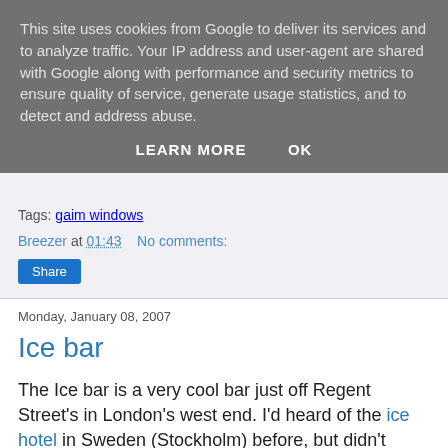This site uses cookies from Google to deliver its services and to analyze traffic. Your IP address and user-agent are shared with Google along with performance and security metrics to ensure quality of service, generate usage statistics, and to detect and address abuse.
LEARN MORE    OK
Tags: gaim windows
Breezer at 01:43    No comments:
Share
Monday, January 08, 2007
Ice bar
The Ice bar is a very cool bar just off Regent Street's in London's west end. I'd heard of the ice hotel in Sweden (Stockholm) before, but didn't know we had our own ice bar in London.